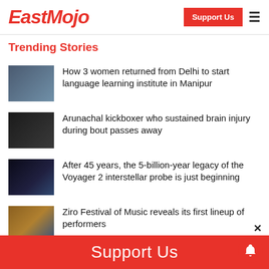EastMojo | Support Us
Trending Stories
How 3 women returned from Delhi to start language learning institute in Manipur
Arunachal kickboxer who sustained brain injury during bout passes away
After 45 years, the 5-billion-year legacy of the Voyager 2 interstellar probe is just beginning
Ziro Festival of Music reveals its first lineup of performers
Shillong Morning Teer Result today: Check winners of Shillong Teer for August 19
Support Us